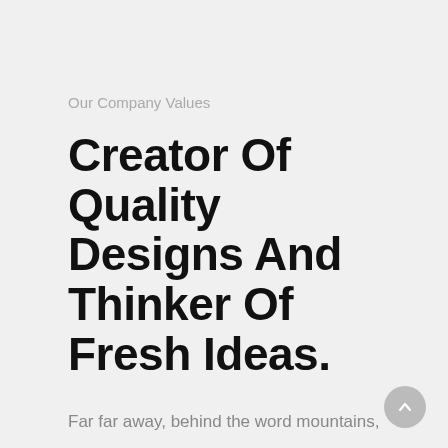Our Company Values
Creator Of Quality Designs And Thinker Of Fresh Ideas.
Far far away, behind the word mountains, far from the countries Vokalia and Consonantia, there live the blind texts. A small river named Duden flows by their